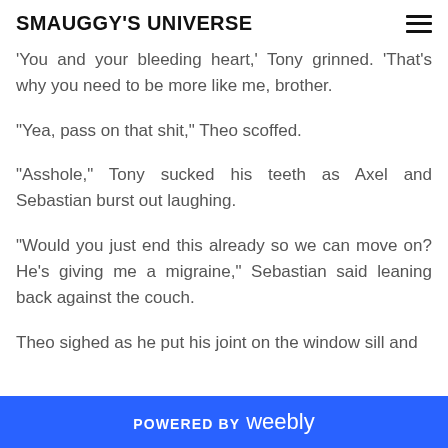SMAUGGY'S UNIVERSE
'You and your bleeding heart,' Tony grinned. 'That's why you need to be more like me, brother.
"Yea, pass on that shit," Theo scoffed.
"Asshole," Tony sucked his teeth as Axel and Sebastian burst out laughing.
"Would you just end this already so we can move on? He's giving me a migraine," Sebastian said leaning back against the couch.
Theo sighed as he put his joint on the window sill and
POWERED BY weebly